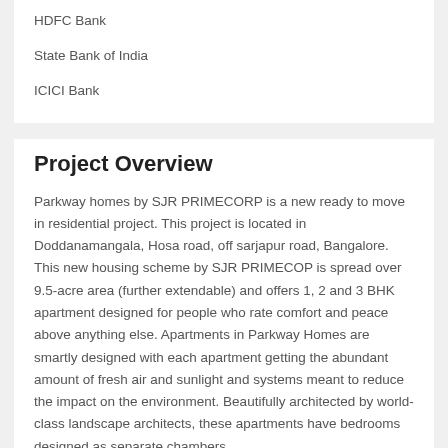HDFC Bank
State Bank of India
ICICI Bank
Project Overview
Parkway homes by SJR PRIMECORP is a new ready to move in residential project. This project is located in Doddanamangala, Hosa road, off sarjapur road, Bangalore. This new housing scheme by SJR PRIMECOP is spread over 9.5-acre area (further extendable) and offers 1, 2 and 3 BHK apartment designed for people who rate comfort and peace above anything else. Apartments in Parkway Homes are smartly designed with each apartment getting the abundant amount of fresh air and sunlight and systems meant to reduce the impact on the environment. Beautifully architected by world-class landscape architects, these apartments have bedrooms designed as separate chambers